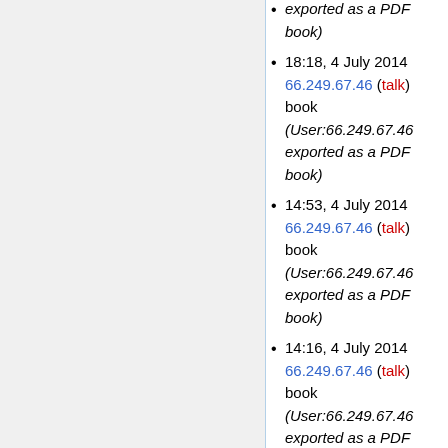exported as a PDF book)
18:18, 4 July 2014 66.249.67.46 (talk) book (User:66.249.67.46 exported as a PDF book)
14:53, 4 July 2014 66.249.67.46 (talk) book (User:66.249.67.46 exported as a PDF book)
14:16, 4 July 2014 66.249.67.46 (talk) book (User:66.249.67.46 exported as a PDF book)